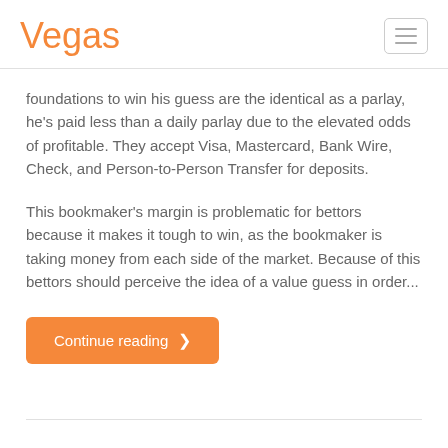Vegas
foundations to win his guess are the identical as a parlay, he's paid less than a daily parlay due to the elevated odds of profitable. They accept Visa, Mastercard, Bank Wire, Check, and Person-to-Person Transfer for deposits.
This bookmaker's margin is problematic for bettors because it makes it tough to win, as the bookmaker is taking money from each side of the market. Because of this bettors should perceive the idea of a value guess in order...
Continue reading ›